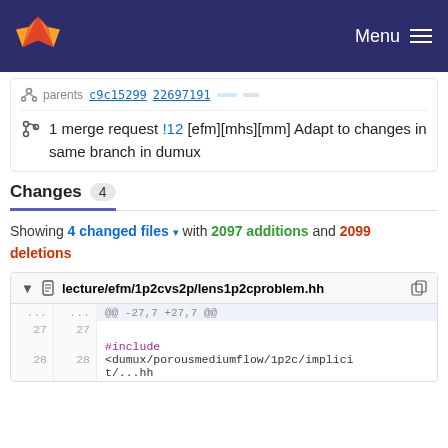GitLab Menu
parents c9c15299 22697191
1 merge request !12 [efm][mhs][mm] Adapt to changes in same branch in dumux
Changes 4
Showing 4 changed files with 2097 additions and 2099 deletions
lecture/efm/1p2cvs2p/lens1p2cproblem.hh
| old | new | code |
| --- | --- | --- |
| ... | ... | @@ -27,7 +27,7 @@ |
| 27 | 27 |  |
| 28 | 28 | #include
<dumux/porousmediumflow/1p2c/implici
t/...hh |